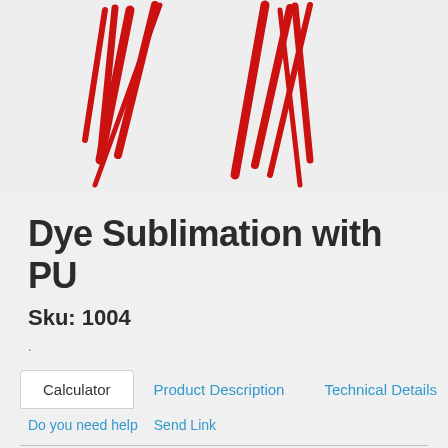[Figure (logo): Red stylized logo mark with angular brush strokes resembling abstract letters or flames on a light gray background]
Dye Sublimation with PU
Sku: 1004
.
Calculator | Product Description | Technical Details
Do you need help   Send Link
Fields marked with an asterisk are mandatory and must be filled
Metal Hook